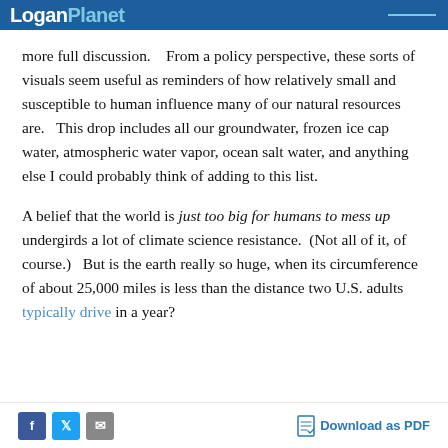LoganPlanet
more full discussion.    From a policy perspective, these sorts of visuals seem useful as reminders of how relatively small and susceptible to human influence many of our natural resources are.   This drop includes all our groundwater, frozen ice cap water, atmospheric water vapor, ocean salt water, and anything else I could probably think of adding to this list.
A belief that the world is just too big for humans to mess up undergirds a lot of climate science resistance.  (Not all of it, of course.)   But is the earth really so huge, when its circumference of about 25,000 miles is less than the distance two U.S. adults typically drive in a year?
Social share buttons and Download as PDF link